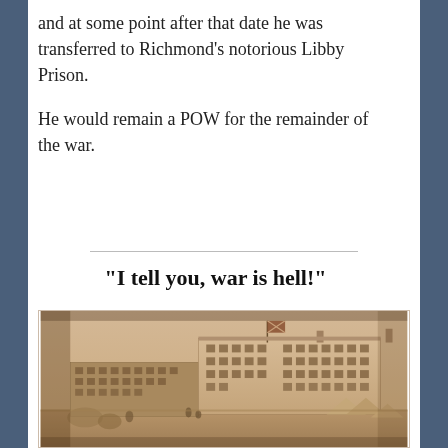and at some point after that date he was transferred to Richmond’s notorious Libby Prison.
He would remain a POW for the remainder of the war.
“I tell you, war is hell!”
[Figure (photo): Historical sepia photograph of Libby Prison in Richmond, Virginia. A large multi-story brick building with many windows, a Confederate flag on a flagpole, and people and tents visible in the foreground.]